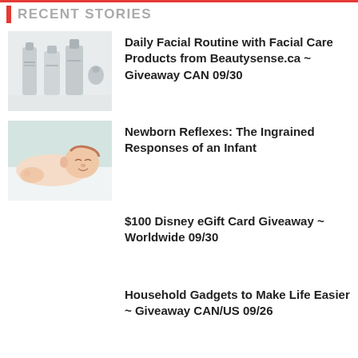RECENT STORIES
[Figure (photo): Skincare/facial care product bottles and containers on a light background]
Daily Facial Routine with Facial Care Products from Beautysense.ca ~ Giveaway CAN 09/30
[Figure (photo): Newborn baby lying on white surface, smiling]
Newborn Reflexes: The Ingrained Responses of an Infant
$100 Disney eGift Card Giveaway ~ Worldwide 09/30
Household Gadgets to Make Life Easier ~ Giveaway CAN/US 09/26